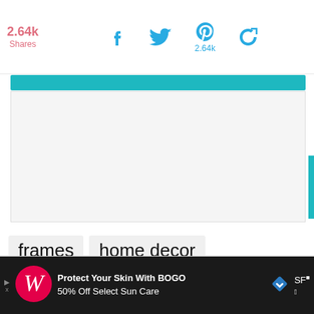2.64k Shares | Facebook | Twitter | Pinterest 2.64k | Share
[Figure (screenshot): White image placeholder box with teal button overlay at top]
frames
home decor
organization
spray paint
storage
upcycled
[Figure (screenshot): Advertisement bar: Walgreens - Protect Your Skin With BOGO 50% Off Select Sun Care, with navigation diamond icon and SF weather badge]